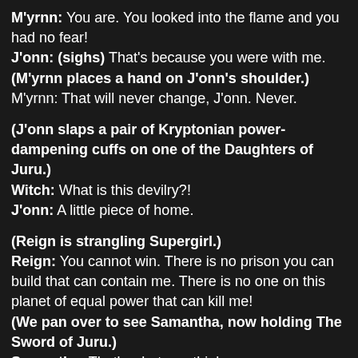M'yrnn: You are. You looked into the flame and you had no fear!
J'onn: (sighs) That's because you were with me.
(M'yrnn places a hand on J'onn's shoulder.)
M'yrnn: That will never change, J'onn. Never.
(J'onn slaps a pair of Kryptonian power-dampening cuffs on one of the Daughters of Juru.)
Witch: What is this devilry?!
J'onn: A little piece of home.
(Reign is strangling Supergirl.)
Reign: You cannot win. There is no prison you can build that can contain me. There is no one on this planet of equal power that can kill me!
(We pan over to see Samantha, now holding The Sword of Juru.)
Samantha: That's what you think.
(Samantha stabs Reign in the back.)
Kara: Before we went to Argo, I just had this thought. I... could be Kara Zor-El, Ordinary Citizen. (laughs) That I